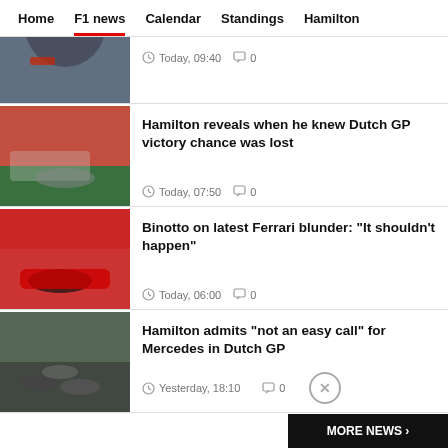Home | F1 news | Calendar | Standings | Hamilton
[Figure (photo): Partial photo of an F1 driver (top of head visible), Red Bull colors]
Today, 09:40  0
[Figure (photo): Mercedes F1 car racing on track with motion blur background]
Hamilton reveals when he knew Dutch GP victory chance was lost
Today, 07:50  0
[Figure (photo): Ferrari F1 car racing on track with crowd in background]
Binotto on latest Ferrari blunder: "It shouldn't happen"
Today, 06:00  0
[Figure (photo): Multiple F1 cars racing on track, aerial/elevated view]
Hamilton admits "not an easy call" for Mercedes in Dutch GP
Yesterday, 18:10  0
MORE NEWS